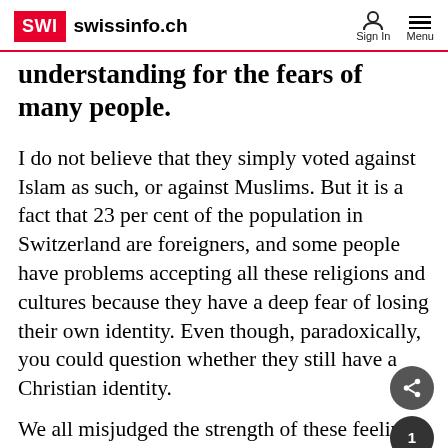SWI swissinfo.ch | Sign In | Menu
understanding for the fears of many people.
I do not believe that they simply voted against Islam as such, or against Muslims. But it is a fact that 23 per cent of the population in Switzerland are foreigners, and some people have problems accepting all these religions and cultures because they have a deep fear of losing their own identity. Even though, paradoxically, you could question whether they still have a Christian identity.
We all misjudged the strength of these feelings, and I believe this should not have happened. But you also have to live with this reality, while...